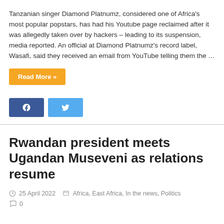Tanzanian singer Diamond Platnumz, considered one of Africa's most popular popstars, has had his Youtube page reclaimed after it was allegedly taken over by hackers – leading to its suspension, media reported. An official at Diamond Platnumz's record label, Wasafi, said they received an email from YouTube telling them the …
Read More »
Rwandan president meets Ugandan Museveni as relations resume
25 April 2022   Africa, East Africa, In the news, Politics   0